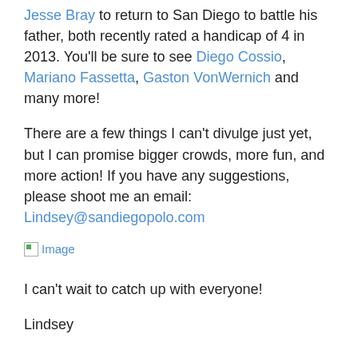Jesse Bray to return to San Diego to battle his father, both recently rated a handicap of 4 in 2013.  You'll be sure to see Diego Cossio, Mariano Fassetta, Gaston VonWernich and many more!
There are a few things I can't divulge just yet, but I can promise bigger crowds, more fun, and more action!  If you have any suggestions, please shoot me an email: Lindsey@sandiegopolo.com
[Figure (other): Broken image placeholder with 'Image' link text]
I can't wait to catch up with everyone!
Lindsey